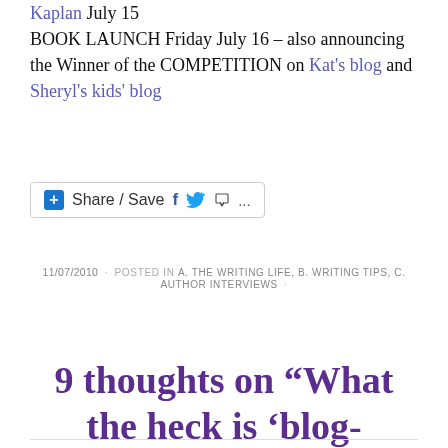Kaplan July 15 BOOK LAUNCH Friday July 16 – also announcing the Winner of the COMPETITION on Kat's blog and Sheryl's kids' blog
[Figure (other): Share / Save social sharing button bar with Facebook, Twitter, and other share icons]
11/07/2010 · POSTED IN A. THE WRITING LIFE, B. WRITING TIPS, C. AUTHOR INTERVIEWS ·
9 thoughts on “What the heck is ‘blog-touring’?”